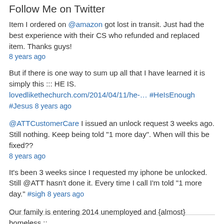Follow Me on Twitter
Item I ordered on @amazon got lost in transit. Just had the best experience with their CS who refunded and replaced item. Thanks guys!
8 years ago
But if there is one way to sum up all that I have learned it is simply this ::: HE IS. lovedlikethechurch.com/2014/04/11/he-… #HeIsEnough #Jesus 8 years ago
@ATTCustomerCare I issued an unlock request 3 weeks ago. Still nothing. Keep being told "1 more day". When will this be fixed??
8 years ago
It's been 3 weeks since I requested my iphone be unlocked. Still @ATT hasn't done it. Every time I call I'm told "1 more day." #sigh 8 years ago
Our family is entering 2014 unemployed and {almost} homeless :: bit.ly/KVy1Ow #unemployed #homeless #ourjourney 8 years ago